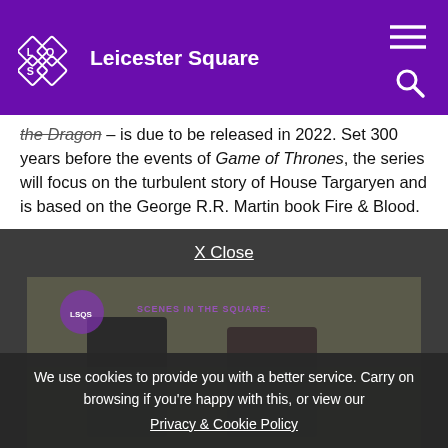Leicester Square
the Dragon – is due to be released in 2022. Set 300 years before the events of Game of Thrones, the series will focus on the turbulent story of House Targaryen and is based on the George R.R. Martin book Fire & Blood.
X Close
[Figure (screenshot): Video thumbnail showing two people, with 'SCENES IN THE SQUARE' text overlay and a Leicester Square logo watermark]
We use cookies to provide you with a better service. Carry on browsing if you're happy with this, or view our Privacy & Cookie Policy